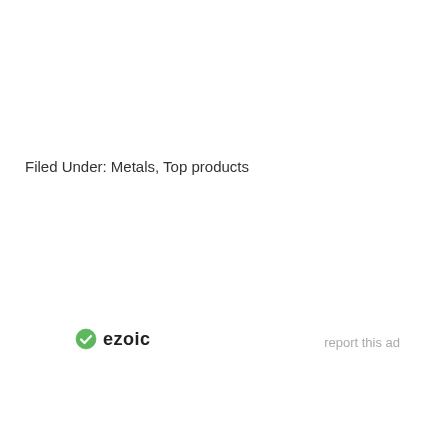Filed Under: Metals, Top products
[Figure (logo): Ezoic logo with green circle check icon and 'ezoic' text in dark color]
report this ad